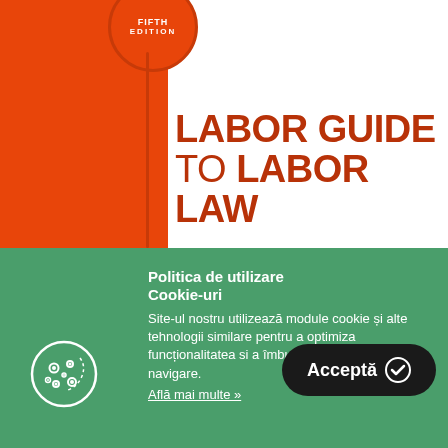[Figure (illustration): Book cover image showing 'Labor Guide to Labor Law' with orange background on the left side and a red circle badge at top saying 'FIFTH EDITION'. The title text appears in dark red on white background on the right.]
LABOR GUIDE
TO LABOR LAW
Politica de utilizare Cookie-uri
Site-ul nostru utilizează module cookie și alte tehnologii similare pentru a optimiza funcționalitatea si a îmbunătăți experiența de navigare.
Află mai multe »